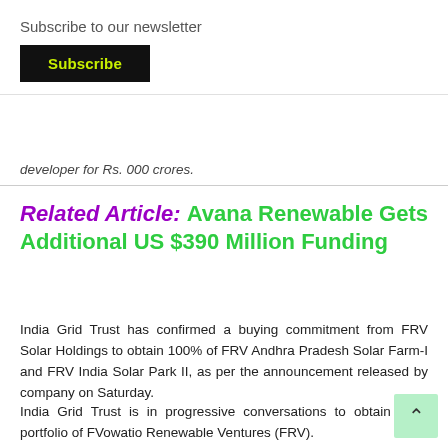Subscribe to our newsletter
Subscribe
developer for Rs. 000 crores.
Related Article: Avana Renewable Gets Additional US $390 Million Funding
India Grid Trust has confirmed a buying commitment from FRV Solar Holdings to obtain 100% of FRV Andhra Pradesh Solar Farm-I and FRV India Solar Park II, as per the announcement released by company on Saturday.
India Grid Trust is in progressive conversations to obtain India portfolio of FVowatio Renewable Ventures (FRV).